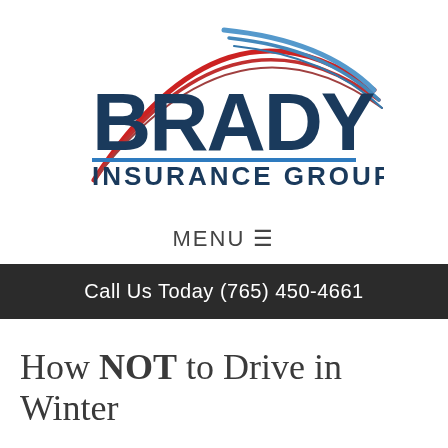[Figure (logo): Brady Insurance Group logo with red and blue arc swoosh above large dark blue text BRADY and blue horizontal line, with INSURANCE GROUP text below]
MENU ☰
Call Us Today (765) 450-4661
How NOT to Drive in Winter